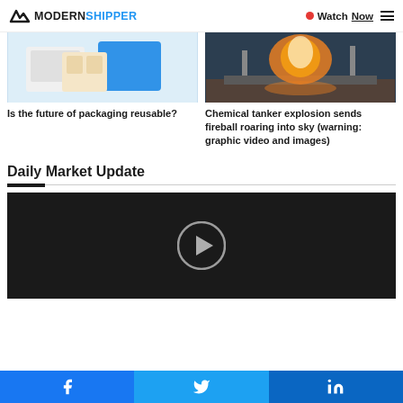MODERN SHIPPER — Watch Now ≡
[Figure (photo): White and blue plastic reusable packaging containers on a white surface]
Is the future of packaging reusable?
[Figure (photo): Chemical tanker fire explosion with fireball and orange flames on ship deck]
Chemical tanker explosion sends fireball roaring into sky (warning: graphic video and images)
Daily Market Update
[Figure (screenshot): Dark video player with a circular play button in the center — Daily Market Update video]
Facebook  Twitter  LinkedIn